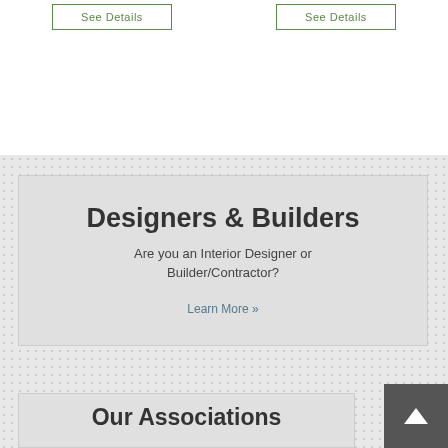See Details
See Details
Designers & Builders
Are you an Interior Designer or Builder/Contractor?
Learn More »
Our Associations